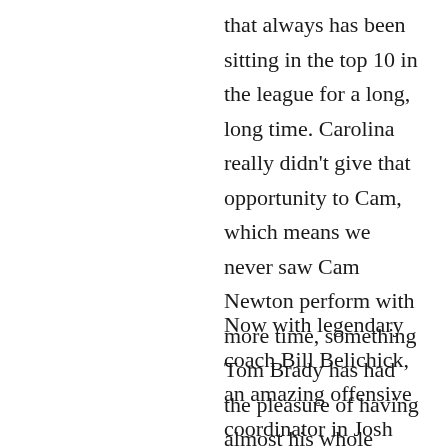that always has been sitting in the top 10 in the league for a long, long time. Carolina really didn't give that opportunity to Cam, which means we never saw Cam Newton perform with more time, something Tom Brady has had the pleasure of having almost his whole career.
Now with legendary coach Bill Belichick, an amazing offensive coordinator in Josh McDaniels, an awesome receiving core with two running backs that play in all